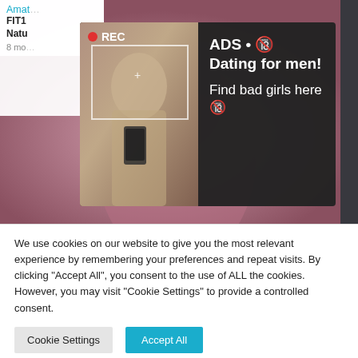[Figure (screenshot): Website screenshot showing a video thumbnail of a woman in athletic wear (partially visible), with a dark popup advertisement overlay showing a woman taking a selfie with REC indicator and ad text 'ADS • 🔞 Dating for men! Find bad girls here 🔞', and a cookie consent banner at the bottom with 'Cookie Settings' and 'Accept All' buttons.]
We use cookies on our website to give you the most relevant experience by remembering your preferences and repeat visits. By clicking "Accept All", you consent to the use of ALL the cookies. However, you may visit "Cookie Settings" to provide a controlled consent.